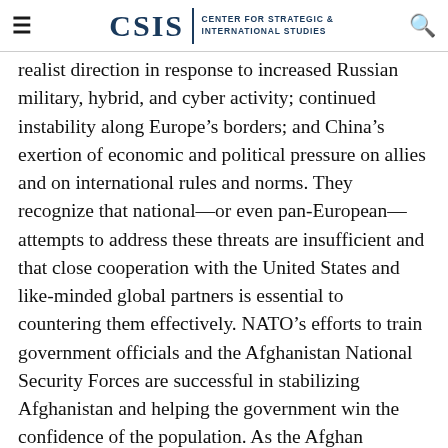CSIS | CENTER FOR STRATEGIC & INTERNATIONAL STUDIES
realist direction in response to increased Russian military, hybrid, and cyber activity; continued instability along Europe’s borders; and China’s exertion of economic and political pressure on allies and on international rules and norms. They recognize that national—or even pan-European—attempts to address these threats are insufficient and that close cooperation with the United States and like-minded global partners is essential to countering them effectively. NATO’s efforts to train government officials and the Afghanistan National Security Forces are successful in stabilizing Afghanistan and helping the government win the confidence of the population. As the Afghan government gains legitimacy, the Taliban is forced to moderate its stance to retain influence and gradually transforms into a political party.
Working closely with the European Union and...